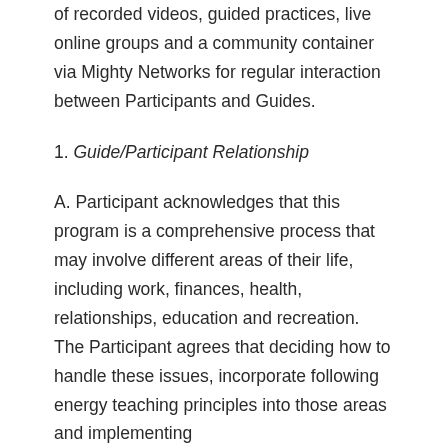of recorded videos, guided practices, live online groups and a community container via Mighty Networks for regular interaction between Participants and Guides.
1. Guide/Participant Relationship
A. Participant acknowledges that this program is a comprehensive process that may involve different areas of their life, including work, finances, health, relationships, education and recreation. The Participant agrees that deciding how to handle these issues, incorporate following energy teaching principles into those areas and implementing